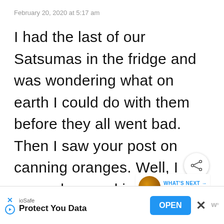February 20, 2020 at 5:17 am
I had the last of our Satsumas in the fridge and was wondering what on earth I could do with them before they all went bad. Then I saw your post on canning oranges. Well, I canned several jars this morning and they turned out wonderfully. So delicious! Thank you so much! Now we can enjoy our Satsumas year round!
[Figure (screenshot): Share button (circular white button with share icon) overlaid on text]
[Figure (screenshot): What's Next panel showing a jar of Pear Jam with text 'WHAT'S NEXT → Pear Jam']
[Figure (screenshot): Advertisement banner: ioSafe 'Protect You Data' with OPEN button and close X button]